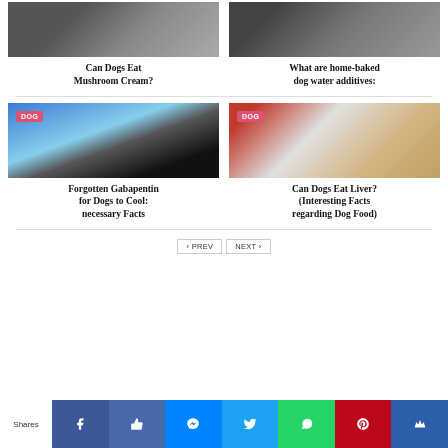[Figure (photo): Person holding mushrooms over a plate of food]
Can Dogs Eat Mushroom Cream?
[Figure (photo): Dog eating from a red bowl]
What are home-baked dog water additives:
[Figure (photo): Black Labrador dog portrait at sunset near ocean with DOG badge]
Forgotten Gabapentin for Dogs to Cool: necessary Facts
[Figure (photo): Dog food bowls with kibble and raw food and a dog face with DOG badge]
Can Dogs Eat Liver? (Interesting Facts regarding Dog Food)
< PREV   NEXT >
Shares